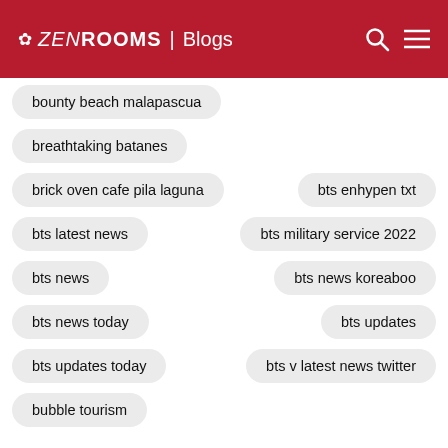ZenRooms | Blogs
bounty beach malapascua
breathtaking batanes
brick oven cafe pila laguna
bts enhypen txt
bts latest news
bts military service 2022
bts news
bts news koreaboo
bts news today
bts updates
bts updates today
bts v latest news twitter
bubble tourism